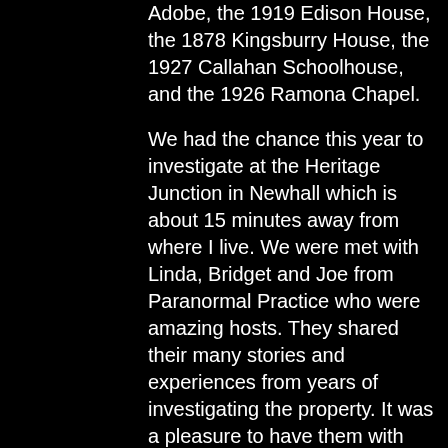Adobe, the 1919 Edison House, the 1878 Kingsburry House, the 1927 Callahan Schoolhouse, and the 1926 Ramona Chapel.
We had the chance this year to investigate at the Heritage Junction in Newhall which is about 15 minutes away from where I live. We were met with Linda, Bridget and Joe from Paranormal Practice who were amazing hosts. They shared their many stories and experiences from years of investigating the property. It was a pleasure to have them with us!